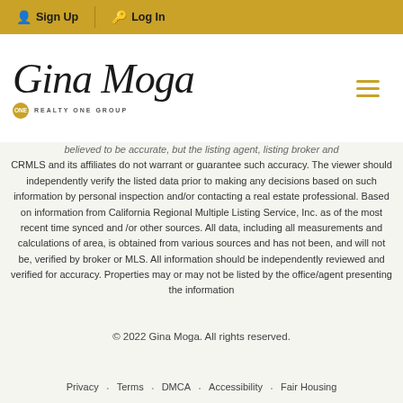Sign Up   Log In
[Figure (logo): Gina Moga script logo with Realty One Group badge]
believed to be accurate, but the listing agent, listing broker and CRMLS and its affiliates do not warrant or guarantee such accuracy. The viewer should independently verify the listed data prior to making any decisions based on such information by personal inspection and/or contacting a real estate professional. Based on information from California Regional Multiple Listing Service, Inc. as of the most recent time synced and /or other sources. All data, including all measurements and calculations of area, is obtained from various sources and has not been, and will not be, verified by broker or MLS. All information should be independently reviewed and verified for accuracy. Properties may or may not be listed by the office/agent presenting the information
© 2022 Gina Moga. All rights reserved.
Privacy · Terms · DMCA · Accessibility · Fair Housing